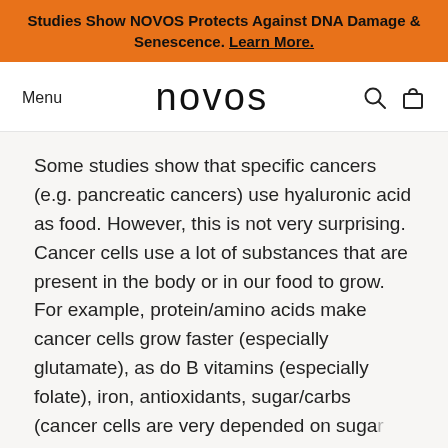Studies Show NOVOS Protects Against DNA Damage & Senescence. Learn More.
[Figure (logo): NOVOS website navigation bar with Menu text on left, NOVOS logo in center, search and bag icons on right]
Some studies show that specific cancers (e.g. pancreatic cancers) use hyaluronic acid as food. However, this is not very surprising. Cancer cells use a lot of substances that are present in the body or in our food to grow. For example, protein/amino acids make cancer cells grow faster (especially glutamate), as do B vitamins (especially folate), iron, antioxidants, sugar/carbs (cancer cells are very depended on sugar because of the Warburg effect) and so on.